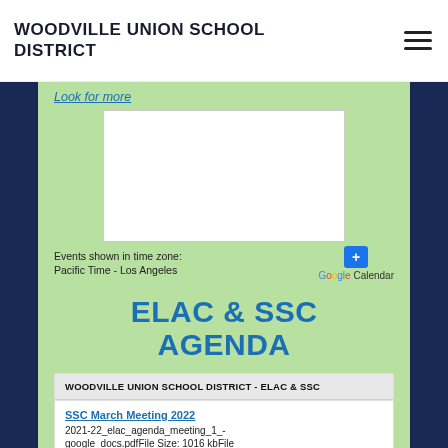WOODVILLE UNION SCHOOL DISTRICT
Look for more
[Figure (screenshot): Embedded Google Calendar widget showing events in Pacific Time - Los Angeles timezone, with a blue + button and Google Calendar logo.]
ELAC & SSC AGENDA
WOODVILLE UNION SCHOOL DISTRICT - ELAC & SSC
SSC March Meeting 2022
2021-22_elac_agenda_meeting_1_- google_docs.pdfFile Size: 1016 kbFile